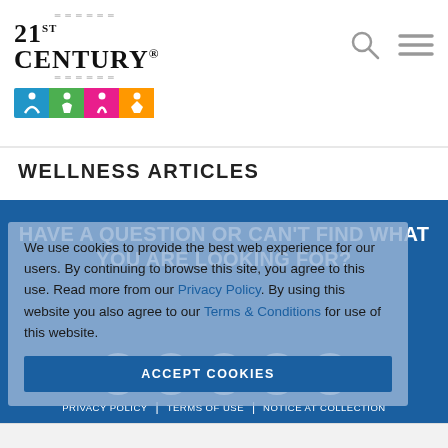[Figure (logo): 21st Century insurance logo with colored figure icons]
WELLNESS ARTICLES
[Figure (screenshot): Cookie consent overlay on blue background with social icons and footer links. Text: We use cookies to provide the best web experience for our users. By continuing to browse this site, you agree to this use. Read more from our Privacy Policy. By using this website you also agree to our Terms & Conditions for use of this website. ACCEPT COOKIES button.]
HAVE A QUESTION OR CAN'T FIND WHAT YOU ARE LOOKING FOR?
PRIVACY POLICY | TERMS OF USE | NOTICE AT COLLECTION